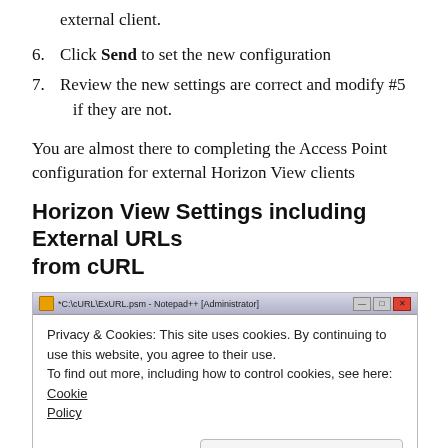external client.
6. Click Send to set the new configuration
7. Review the new settings are correct and modify #5 if they are not.
You are almost there to completing the Access Point configuration for external Horizon View clients
Horizon View Settings including External URLs from cURL
[Figure (screenshot): Screenshot of a Notepad++ window titled *C:\cURL\ExURL.psm - Notepad++ [Administrator], showing a cookie consent notice: 'Privacy & Cookies: This site uses cookies. By continuing to use this website, you agree to their use. To find out more, including how to control cookies, see here: Cookie Policy' with a 'Close and accept' button.]